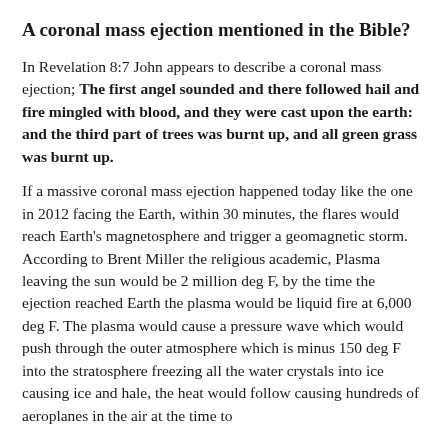A coronal mass ejection mentioned in the Bible?
In Revelation 8:7 John appears to describe a coronal mass ejection; The first angel sounded and there followed hail and fire mingled with blood, and they were cast upon the earth: and the third part of trees was burnt up, and all green grass was burnt up.
If a massive coronal mass ejection happened today like the one in 2012 facing the Earth, within 30 minutes, the flares would reach Earth's magnetosphere and trigger a geomagnetic storm. According to Brent Miller the religious academic, Plasma leaving the sun would be 2 million deg F, by the time the ejection reached Earth the plasma would be liquid fire at 6,000 deg F. The plasma would cause a pressure wave which would push through the outer atmosphere which is minus 150 deg F into the stratosphere freezing all the water crystals into ice causing ice and hale, the heat would follow causing hundreds of aeroplanes in the air at the time to